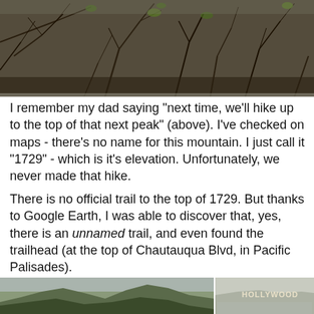[Figure (photo): Photograph of dense dry shrubs and branches on a hillside, taken looking upward. Sparse green leaves visible among brown branches.]
I remember my dad saying "next time, we'll hike up to the top of that next peak" (above). I've checked on maps - there's no name for this mountain. I just call it "1729" - which is it's elevation. Unfortunately, we never made that hike.
There is no official trail to the top of 1729. But thanks to Google Earth, I was able to discover that, yes, there is an unnamed trail, and even found the trailhead (at the top of Chautauqua Blvd, in Pacific Palisades).
[Figure (photo): Two photographs side by side at bottom of page. Left photo shows mountain peaks with green-brown vegetation and ridgeline against sky. Right photo shows the HOLLYWOOD sign on a hillside with city sprawl in the background.]